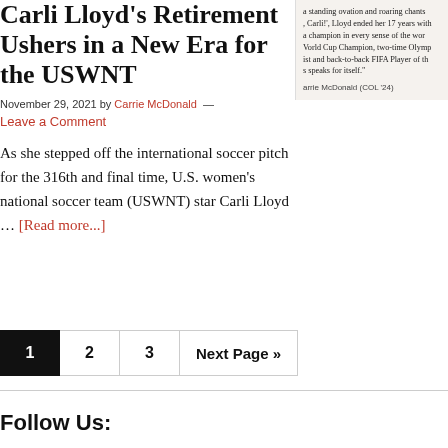Carli Lloyd's Retirement Ushers in a New Era for the USWNT
November 29, 2021 by Carrie McDonald — Leave a Comment
[Figure (screenshot): A quoted text excerpt with attribution reading: 'a standing ovation and roaring chants, Carli!, Lloyd ended her 17 years with a champion in every sense of the word. World Cup Champion, two-time Olymp... ist and back-to-back FIFA Player of th... s speaks for itself.' Attribution: arrie McDonald (COL '24)]
As she stepped off the international soccer pitch for the 316th and final time, U.S. women's national soccer team (USWNT) star Carli Lloyd … [Read more...]
1  2  3  Next Page »
Follow Us: